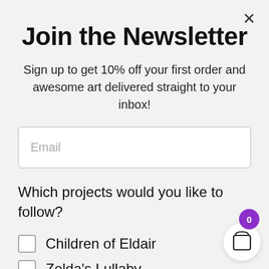Join the Newsletter
Sign up to get 10% off your first order and awesome art delivered straight to your inbox!
Email
Which projects would you like to follow?
Children of Eldair
Zelda's Lullaby